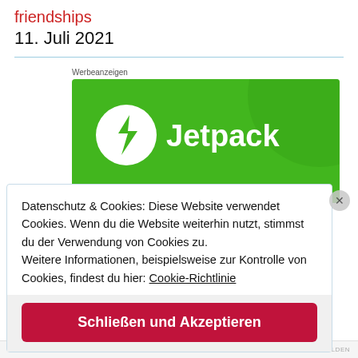friendships
11. Juli 2021
[Figure (screenshot): Jetpack advertisement banner with green background showing the Jetpack logo (lightning bolt in circle) and 'Jetpack' text in white]
Datenschutz & Cookies: Diese Website verwendet Cookies. Wenn du die Website weiterhin nutzt, stimmst du der Verwendung von Cookies zu.
Weitere Informationen, beispielsweise zur Kontrolle von Cookies, findest du hier: Cookie-Richtlinie
Schließen und Akzeptieren